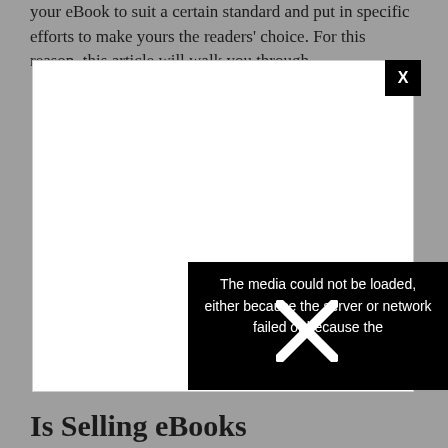your eBook to suit a certain standard and put in specific efforts to make yours the readers' choice. For this reason, this article will walk you through
[Figure (screenshot): A video player (white rectangle) with an error overlay showing 'The media could not be loaded, either because the server or network failed or because the' and an X close button in the top-right corner of the player, and a circular X dismiss button to the right.]
Is Selling eBooks